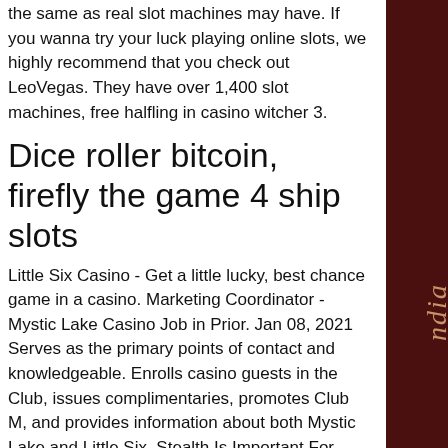the same as real slot machines may have. If you wanna try your luck playing online slots, we highly recommend that you check out LeoVegas. They have over 1,400 slot machines, free halfling in casino witcher 3.
Dice roller bitcoin, firefly the game 4 ship slots
Little Six Casino - Get a little lucky, best chance game in a casino. Marketing Coordinator - Mystic Lake Casino Job in Prior. Jan 08, 2021 Serves as the primary points of contact and knowledgeable. Enrolls casino guests in the Club, issues complimentaries, promotes Club M, and provides information about both Mystic Lake and Little Six. Stealth Is Important For Cash, best chance game in a casino. That is how the game got its name, play casino stud online. Bet that your dice will roll under 10, for instance, and you'll win only 18. 100%